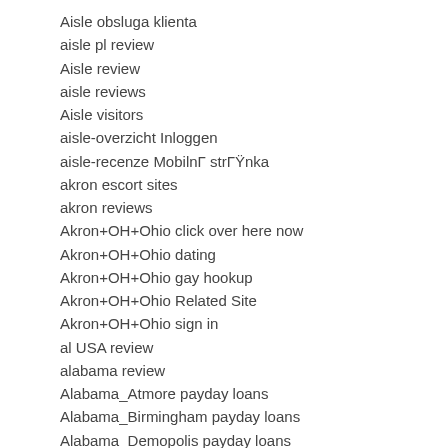Aisle obsluga klienta
aisle pl review
Aisle review
aisle reviews
Aisle visitors
aisle-overzicht Inloggen
aisle-recenze MobilnÍ strÁnka
akron escort sites
akron reviews
Akron+OH+Ohio click over here now
Akron+OH+Ohio dating
Akron+OH+Ohio gay hookup
Akron+OH+Ohio Related Site
Akron+OH+Ohio sign in
al USA review
alabama review
Alabama_Atmore payday loans
Alabama_Birmingham payday loans
Alabama_Demopolis payday loans